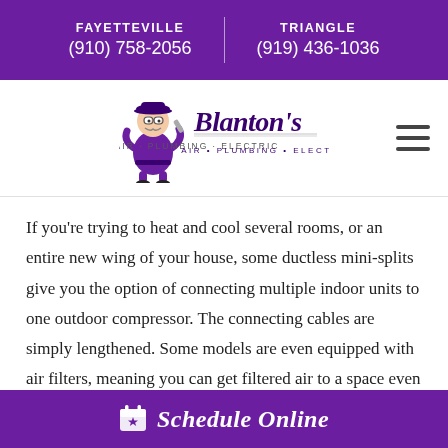FAYETTEVILLE (910) 758-2056 | TRIANGLE (919) 436-1036
[Figure (logo): Blanton's Air · Plumbing · Electric logo with cartoon plumber mascot]
If you're trying to heat and cool several rooms, or an entire new wing of your house, some ductless mini-splits give you the option of connecting multiple indoor units to one outdoor compressor. The connecting cables are simply lengthened. Some models are even equipped with air filters, meaning you can get filtered air to a space even if your main ventilation system doesn't serve it.
Schedule Online